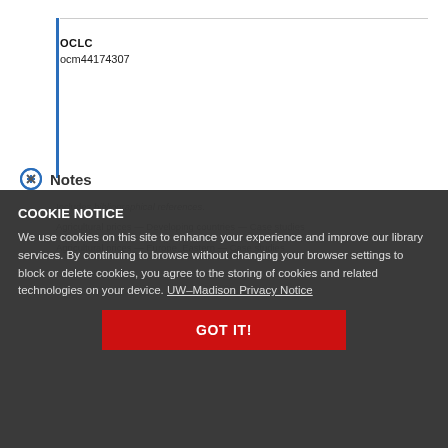OCLC
ocm44174307
Notes
Includes bibliographical references.
Agricultural prices — Developing countries — Case studies
Agricultural prices — Europe, Eastern — Case studies
COOKIE NOTICE
We use cookies on this site to enhance your experience and improve our library services. By continuing to browse without changing your browser settings to block or delete cookies, you agree to the storing of cookies and related technologies on your device. UW–Madison Privacy Notice
GOT IT!